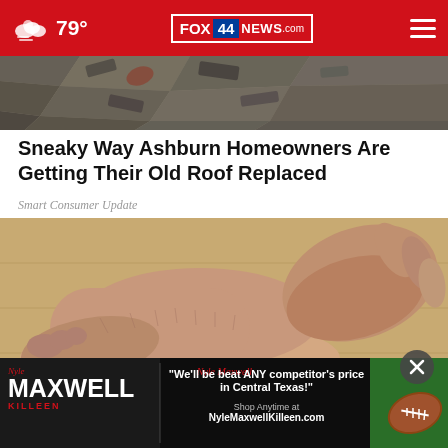79° FOX 44 NEWS.com
[Figure (photo): Broken/damaged roof shingles and debris viewed from above]
Sneaky Way Ashburn Homeowners Are Getting Their Old Roof Replaced
Smart Consumer Update
[Figure (photo): Close-up photo of a person's foot and ankle, hands touching/massaging the foot]
[Figure (photo): Advertisement banner for Nyle Maxwell Killeen dealership with football image. Text: "We'll be beat ANY competitor's price in Central Texas!" Nyle Maxwell, Shop Anytime at NyleMaxwellKilleen.com]